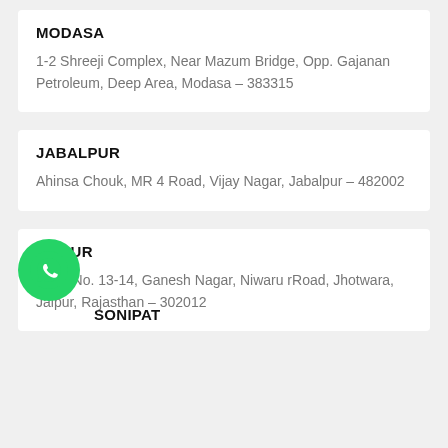MODASA
1-2 Shreeji Complex, Near Mazum Bridge, Opp. Gajanan Petroleum, Deep Area, Modasa – 383315
JABALPUR
Ahinsa Chouk, MR 4 Road, Vijay Nagar, Jabalpur – 482002
JAIPUR
Shop No. 13-14, Ganesh Nagar, Niwaru rRoad, Jhotwara, Jaipur, Rajasthan – 302012
[Figure (logo): WhatsApp green circular button icon]
SONIPAT